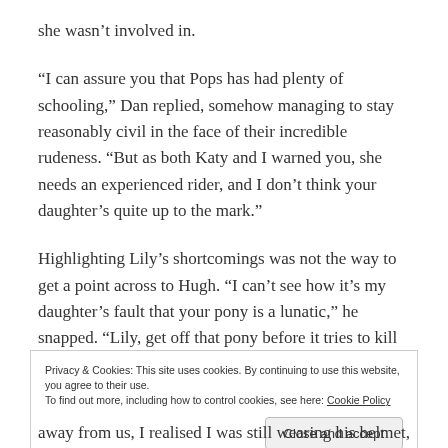she wasn't involved in.
“I can assure you that Pops has had plenty of schooling,” Dan replied, somehow managing to stay reasonably civil in the face of their incredible rudeness. “But as both Katy and I warned you, she needs an experienced rider, and I don’t think your daughter’s quite up to the mark.”
Highlighting Lily’s shortcomings was not the way to get a point across to Hugh. “I can’t see how it’s my daughter’s fault that your pony is a lunatic,” he snapped. “Lily, get off that pony before it tries to kill you again!”
Privacy & Cookies: This site uses cookies. By continuing to use this website, you agree to their use.
To find out more, including how to control cookies, see here: Cookie Policy
away from us, I realised I was still wearing his helmet, and